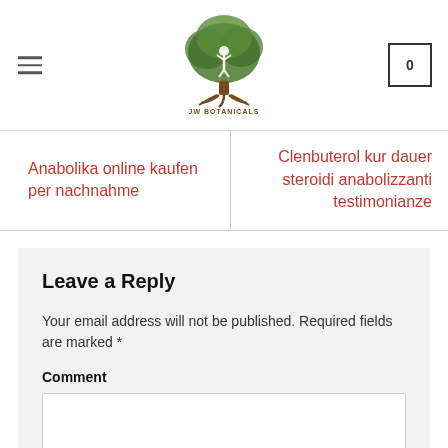[Figure (logo): JW Botanicals logo: tree with person raising arms, brown and green colors, text 'JW BOTANICALS' below]
Anabolika online kaufen per nachnahme
Clenbuterol kur dauer steroidi anabolizzanti testimonianze
Leave a Reply
Your email address will not be published. Required fields are marked *
Comment